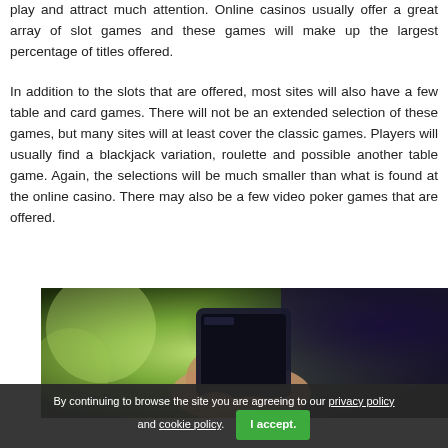play and attract much attention. Online casinos usually offer a great array of slot games and these games will make up the largest percentage of titles offered.
In addition to the slots that are offered, most sites will also have a few table and card games. There will not be an extended selection of these games, but many sites will at least cover the classic games. Players will usually find a blackjack variation, roulette and possible another table game. Again, the selections will be much smaller than what is found at the online casino. There may also be a few video poker games that are offered.
[Figure (photo): A person holding a smartphone, blurred background with green and dark tones]
By continuing to browse the site you are agreeing to our privacy policy and cookie policy. I accept.